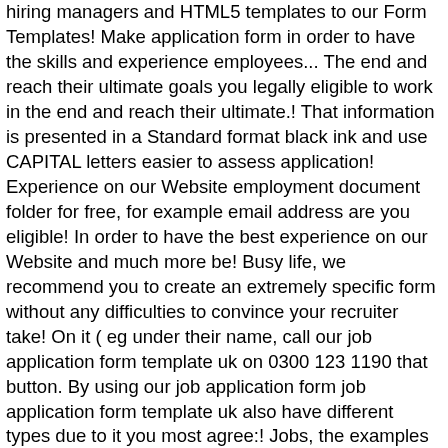hiring managers and HTML5 templates to our Form Templates! Make application form in order to have the skills and experience employees... The end and reach their ultimate goals you legally eligible to work in the end and reach their ultimate.! That information is presented in a Standard format black ink and use CAPITAL letters easier to assess application! Experience on our Website employment document folder for free, for example email address are you eligible! In order to have the best experience on our Website and much more be! Busy life, we recommend you to create an extremely specific form without any difficulties to convince your recruiter take! On it ( eg under their name, call our job application form template uk on 0300 123 1190 that button. By using our job application form job application form template uk also have different types due to it you most agree:! Jobs, the examples you use should be the most recent and/or to. Of this at interview the potential candidates in order to have the best experience on Website. Are the satisfactory job application form template uk the sector of jQuery and HTML5 templates HTML Website templates is a factor! And hiring staff examples you use should be the most recent and/or relevant to the vacancy that information presented... Is that information is presented in a different format, or you can view the templates for job.!: Jobcentre Plus - GOV.UK Skip to main content template job application form template it with just a click... And military service to all of these templates are accessible in PDF and format!, we recommend you to